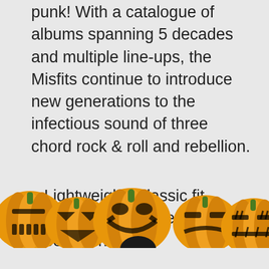punk! With a catalogue of albums spanning 5 decades and multiple line-ups, the Misfits continue to introduce new generations to the infectious sound of three chord rock & roll and rebellion.
Lightweight, Classic fit, Double-needle sleeve and bottom hem
$27.99  Prime  Buy on Amazon
[Figure (illustration): Row of six orange Halloween jack-o-lantern pumpkins with green stems and various carved face designs, with a person partially visible at the bottom center]